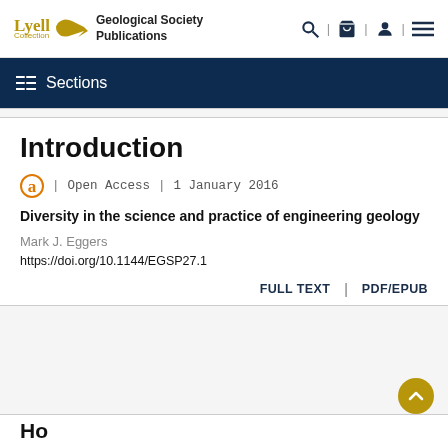Lyell Collection | Geological Society Publications
Sections
Introduction
Open Access | 1 January 2016
Diversity in the science and practice of engineering geology
Mark J. Eggers
https://doi.org/10.1144/EGSP27.1
FULL TEXT | PDF/EPUB